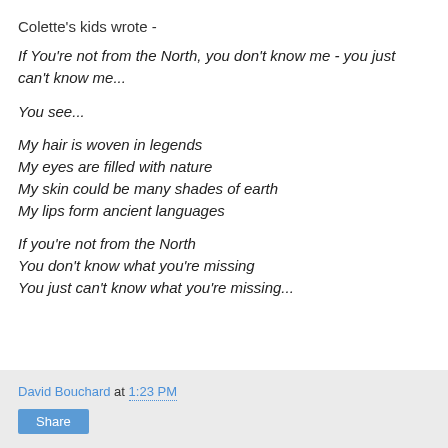Colette's kids wrote -
If You're not from the North, you don't know me - you just can't know me...

You see...

My hair is woven in legends
My eyes are filled with nature
My skin could be many shades of earth
My lips form ancient languages

If you're not from the North
You don't know what you're missing
You just can't know what you're missing...
David Bouchard at 1:23 PM | Share